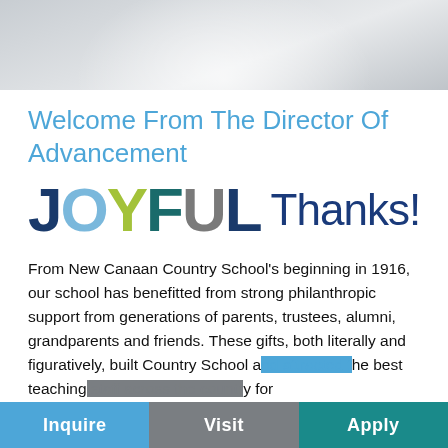[Figure (photo): Gray banner header with radial light burst effect]
Welcome From The Director Of Advancement
[Figure (logo): JOYFUL Thanks! logo with colorful block letters: J (dark blue), O (light blue), Y (yellow-green), F (teal), U (gray), L (dark blue), followed by 'Thanks!' in handwritten dark blue style]
From New Canaan Country School's beginning in 1916, our school has benefitted from strong philanthropic support from generations of parents, trustees, alumni, grandparents and friends. These gifts, both literally and figuratively, built Country School a[nd attracted] the best teaching [staff in the count]ry for
Inquire   Visit   Apply